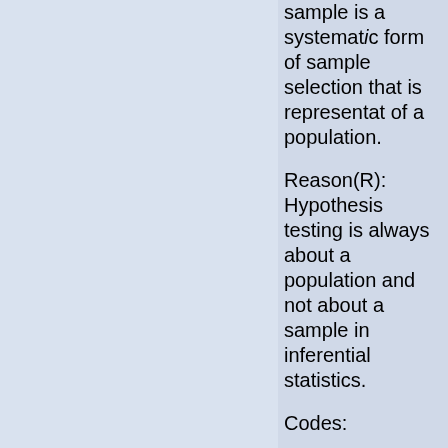sample is a systematic form of sample selection that is representative of a population.
Reason(R): Hypothesis testing is always about a population and not about a sample in inferential statistics.
Codes: